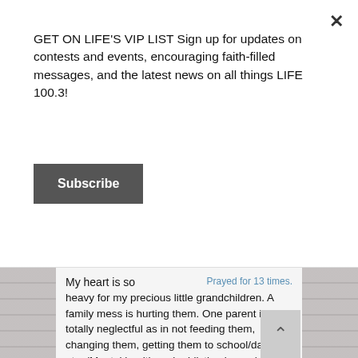GET ON LIFE'S VIP LIST Sign up for updates on contests and events, encouraging faith-filled messages, and the latest news on all things LIFE 100.3!
Subscribe
Prayed for 13 times.
My heart is so heavy for my precious little grandchildren. A family mess is hurting them. One parent is totally neglectful as in not feeding them, changing them, getting them to school/daycare, etc. (Mental health and addiction issues) Other is a great parent. I pray God will protect them. Ideally, He will heal and deliver and restore the family but in the